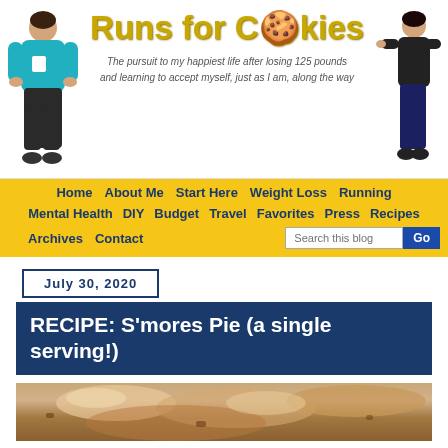[Figure (illustration): Blog header banner for 'Runs for Cookies' with two people (before/after weight loss) flanking the logo. The logo text reads 'Runs for Cookies' in decorative gold/yellow font with a cookie emoji replacing the 'oo' in 'Cookies'. Subtitle: 'The pursuit to my happiest life after losing 125 pounds and learning to accept myself, just as I am, along the way']
Home   About Me   Start Here   Weight Loss   Running   Mental Health   DIY   Budget   Travel   Favorites   Press   Recipes   Archives   Contact
July 30, 2020
RECIPE: S'mores Pie (a single serving!)
[Figure (photo): Photo of S'mores Pie dessert, a single serving, showing a close-up of the pie with toasted marshmallow topping]